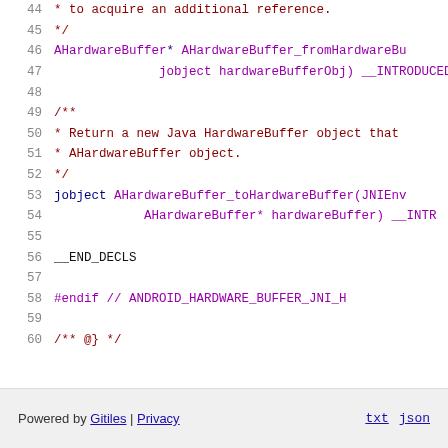44    * to acquire an additional reference.
45    */
46  AHardwareBuffer* AHardwareBuffer_fromHardwareBu...
47              jobject hardwareBufferObj) __INTRODUCED...
48
49  /**
50   * Return a new Java HardwareBuffer object that...
51   * AHardwareBuffer object.
52   */
53  jobject AHardwareBuffer_toHardwareBuffer(JNIEnv...
54          AHardwareBuffer* hardwareBuffer) __INTR...
55
56  __END_DECLS
57
58  #endif // ANDROID_HARDWARE_BUFFER_JNI_H
59
60  /** @} */
Powered by Gitiles | Privacy    txt  json